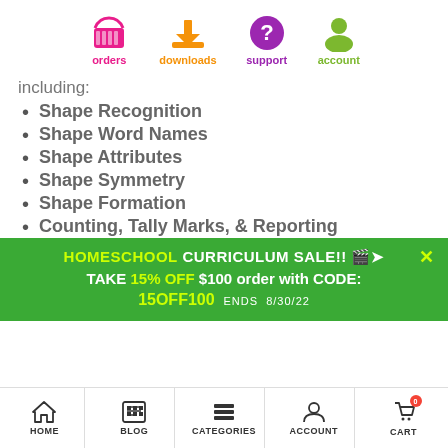[Figure (infographic): Four icons: orders (pink shopping basket), downloads (orange download arrow), support (purple question mark circle), account (green person icon)]
including:
Shape Recognition
Shape Word Names
Shape Attributes
Shape Symmetry
Shape Formation
Counting, Tally Marks, & Reporting
HOMESCHOOL CURRICULUM SALE!! TAKE 15% OFF $100 order with CODE: 15OFF100 ENDS 8/30/22
[Figure (infographic): Bottom navigation bar with HOME, BLOG, CATEGORIES, ACCOUNT, CART icons]